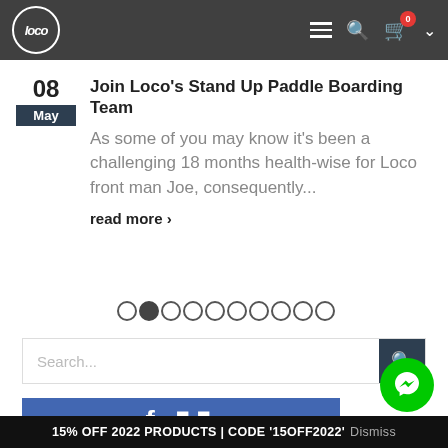Loco — navigation header with logo, hamburger menu, search, cart (0)
Join Loco's Stand Up Paddle Boarding Team
As some of you may know it's been a challenging 18 months health-wise for Loco front man Joe, consequently...
read more ›
[Figure (other): Pagination dots: 10 circles, second one filled/active]
[Figure (other): Search bar with text 'Search...' and dark search button]
[Figure (other): Facebook page banner in blue with white text icon]
[Figure (other): Green Messenger floating button]
15% OFF 2022 PRODUCTS | CODE '15OFF2022'  Dismiss